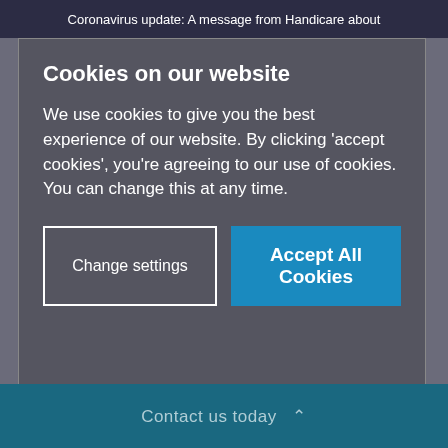Coronavirus update: A message from Handicare about
Cookies on our website
We use cookies to give you the best experience of our website. By clicking ‘accept cookies’, you’re agreeing to our use of cookies. You can change this at any time.
Change settings
Accept All Cookies
affected by the hotter temperatures. And of course, it is
Contact us today »